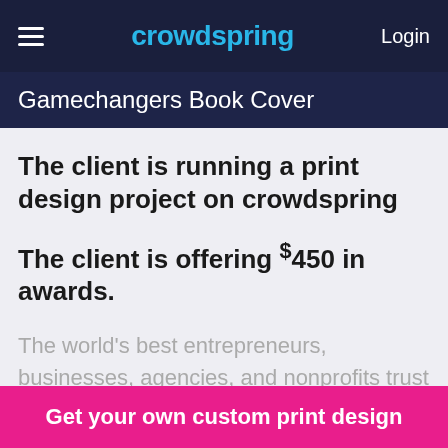crowdspring  Login
Gamechangers Book Cover
The client is running a print design project on crowdspring
The client is offering $450 in awards.
The world's best entrepreneurs, businesses, agencies, and nonprofits trust crowdspring for custom print design needs.
Get your own custom print design